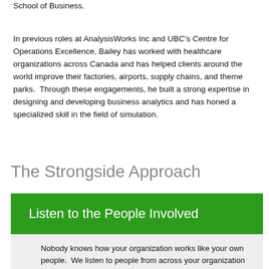School of Business.
In previous roles at AnalysisWorks Inc and UBC's Centre for Operations Excellence, Bailey has worked with healthcare organizations across Canada and has helped clients around the world improve their factories, airports, supply chains, and theme parks.  Through these engagements, he built a strong expertise in designing and developing business analytics and has honed a specialized skill in the field of simulation.
The Strongside Approach
Listen to the People Involved
Nobody knows how your organization works like your own people.  We listen to people from across your organization to hear about what causes them pain and how they think things could be improved in the future.  Since no improvement project can truly